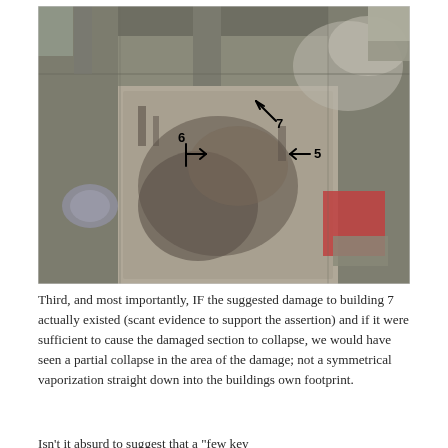[Figure (photo): Aerial photograph (top-down view) of the World Trade Center site after collapse, showing rubble and debris field. Handwritten arrows and numbers annotate the image: '7' pointing toward the upper center area, '6' with arrow pointing right toward lower-left area, '5' with arrow pointing left in the right-center area.]
Third, and most importantly, IF the suggested damage to building 7 actually existed (scant evidence to support the assertion) and if it were sufficient to cause the damaged section to collapse, we would have seen a partial collapse in the area of the damage; not a symmetrical vaporization straight down into the buildings own footprint.
Isn't it absurd to suggest that a "few key